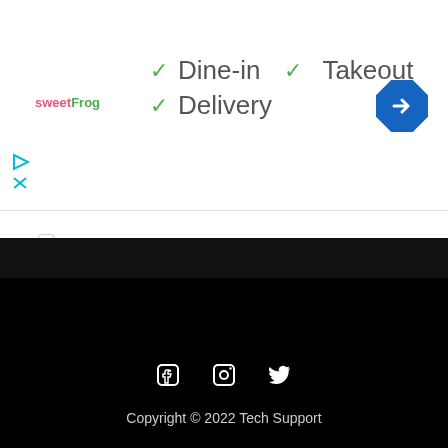[Figure (infographic): Ad banner showing sweetFrog logo with checkmarks for Dine-in, Takeout, and Delivery options, plus a navigation arrow icon]
✓ Dine-in  ✓ Takeout
✓ Delivery
Windows 2012  Windows Server 2012 R2  CMS  Nagios  SSL  VIOS  Hadoop  Kickstart  Windows Registry  Windows Server 2019  XenServer  Big Data  Grafana  Kubernetes  Zabbix  Windows 2003 R2  Windows 2008
Copyright © 2022 Tech Support